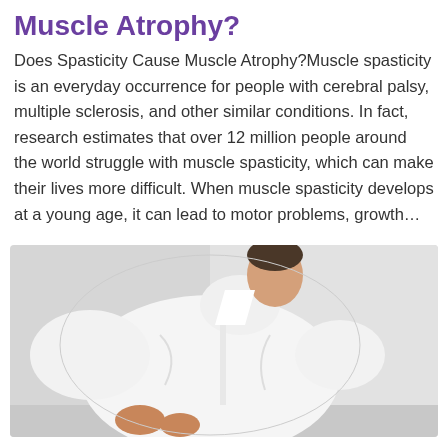Muscle Atrophy?
Does Spasticity Cause Muscle Atrophy?Muscle spasticity is an everyday occurrence for people with cerebral palsy, multiple sclerosis, and other similar conditions. In fact, research estimates that over 12 million people around the world struggle with muscle spasticity, which can make their lives more difficult. When muscle spasticity develops at a young age, it can lead to motor problems, growth…
[Figure (photo): Person wearing a white button-up shirt, bending or twisting with hands on their lower back, suggesting back pain or discomfort, photographed against a light gray background.]